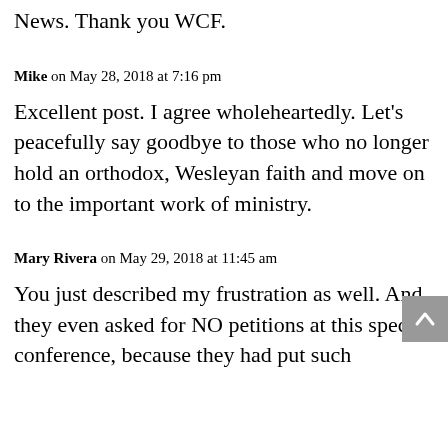News. Thank you WCF.
Mike on May 28, 2018 at 7:16 pm
Excellent post. I agree wholeheartedly. Let's peacefully say goodbye to those who no longer hold an orthodox, Wesleyan faith and move on to the important work of ministry.
Mary Rivera on May 29, 2018 at 11:45 am
You just described my frustration as well. And they even asked for NO petitions at this special conference, because they had put such